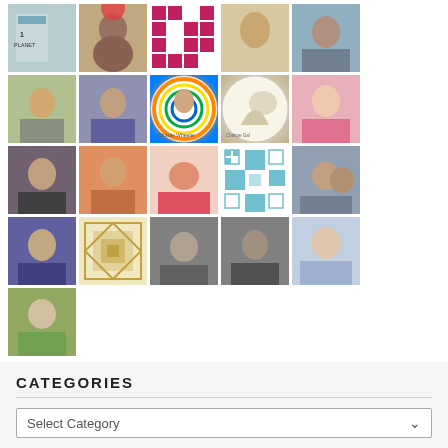[Figure (photo): Grid of profile photos and avatar images arranged in 5 columns and 5 rows, showing various people and decorative pattern images]
CATEGORIES
Select Category
ARCHIVES